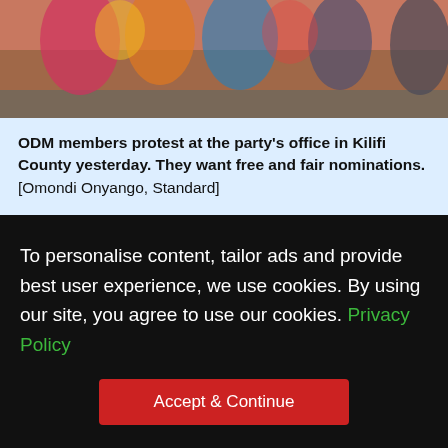[Figure (photo): Photo of ODM members in colorful traditional attire protesting at the party's office, cropped at the top]
ODM members protest at the party's office in Kilifi County yesterday. They want free and fair nominations. [Omondi Onyango, Standard]
To personalise content, tailor ads and provide best user experience, we use cookies. By using our site, you agree to use our cookies. Privacy Policy
Accept & Continue
respectively.